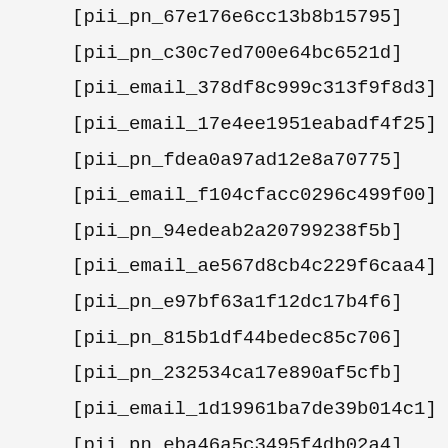[pii_pn_67e176e6cc13b8b15795]
[pii_pn_c30c7ed700e64bc6521d]
[pii_email_378df8c999c313f9f8d3]
[pii_email_17e4ee1951eabadf4f25]
[pii_pn_fdea0a97ad12e8a70775]
[pii_email_f104cfacc0296c499f00]
[pii_pn_94edeab2a20799238f5b]
[pii_email_ae567d8cb4c229f6caa4]
[pii_pn_e97bf63a1f12dc17b4f6]
[pii_pn_815b1df44bedec85c706]
[pii_pn_232534ca17e890af5cfb]
[pii_email_1d19961ba7de39b014c1]
[pii_pn_eba46a5c3495f4db02a4]
[pii_email_8eedba8192dd10edf868]
[pii_email_...]